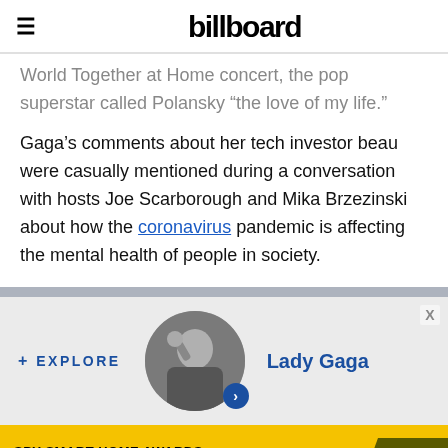billboard
World Together at Home concert, the pop superstar called Polansky “the love of my life.”
Gaga's comments about her tech investor beau were casually mentioned during a conversation with hosts Joe Scarborough and Mika Brzezinski about how the coronavirus pandemic is affecting the mental health of people in society.
[Figure (photo): Circular photo of Lady Gaga in black and white, singing into a microphone]
+ EXPLORE  Lady Gaga
[Figure (infographic): Yellow advertisement banner: SPY SMART HOME AWARDS 75 BEST GADGETS OF 2022 with SPY logo]